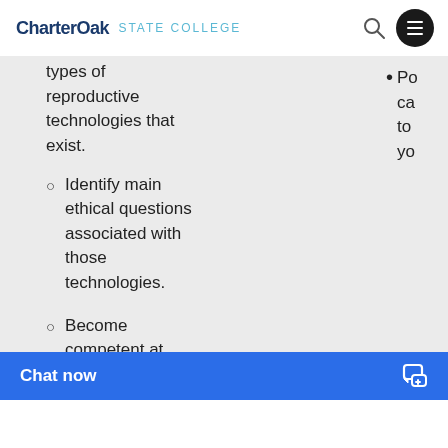CharterOak STATE COLLEGE
types of reproductive technologies that exist.
Identify main ethical questions associated with those technologies.
Become competent at outlining main ethical arguments about the...
Po ca to yo (partially visible right column item)